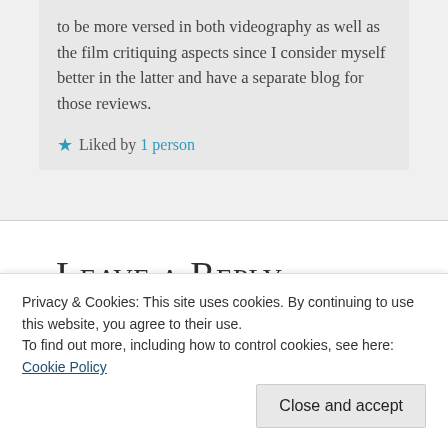to be more versed in both videography as well as the film critiquing aspects since I consider myself better in the latter and have a separate blog for those reviews.
★ Liked by 1 person
Leave a Reply
Your email address will not be published. Required fields are marked
Privacy & Cookies: This site uses cookies. By continuing to use this website, you agree to their use. To find out more, including how to control cookies, see here: Cookie Policy